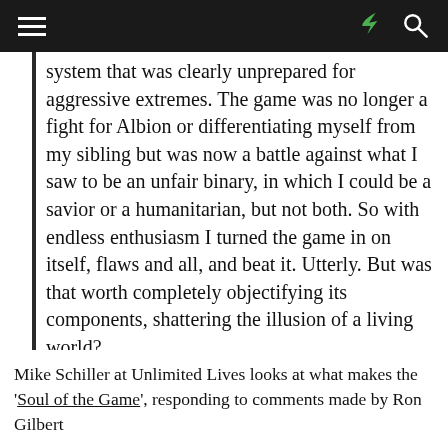[navigation bar with hamburger menu, share icon, search icon]
system that was clearly unprepared for aggressive extremes. The game was no longer a fight for Albion or differentiating myself from my sibling but was now a battle against what I saw to be an unfair binary, in which I could be a savior or a humanitarian, but not both. So with endless enthusiasm I turned the game in on itself, flaws and all, and beat it. Utterly. But was that worth completely objectifying its components, shattering the illusion of a living world?
Mike Schiller at Unlimited Lives looks at what makes the 'Soul of the Game', responding to comments made by Ron Gilbert